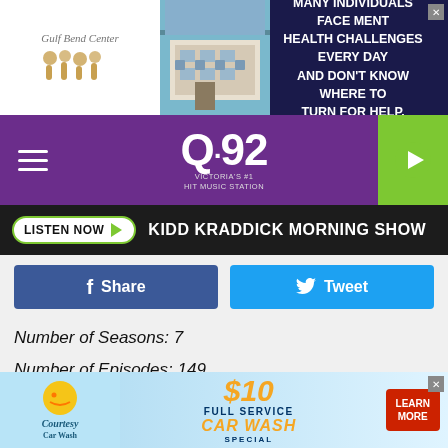[Figure (screenshot): Gulf Bend Center advertisement banner with logo and building photo and text: MANY INDIVIDUALS FACE MENTAL HEALTH CHALLENGES EVERY DAY AND DON'T KNOW WHERE TO TURN FOR HELP.]
[Figure (logo): Q92 Victoria's #1 Hit Music Station purple navigation bar with hamburger menu, Q92 logo and green play button]
LISTEN NOW ▶  KIDD KRADDICK MORNING SHOW
[Figure (screenshot): Facebook Share button (dark blue) and Twitter Tweet button (light blue)]
Number of Seasons: 7
Number of Episodes: 149
At one time, this comedy aired in the coveted spot between Friends and Seinfeld. Some would say this sitcom about the people who work at the fictitious fashion magazine Blush was never given a fair shake because it was constantly
[Figure (screenshot): Courtesy Car Wash advertisement: $10 FULL SERVICE CAR WASH SPECIAL - LEARN MORE]